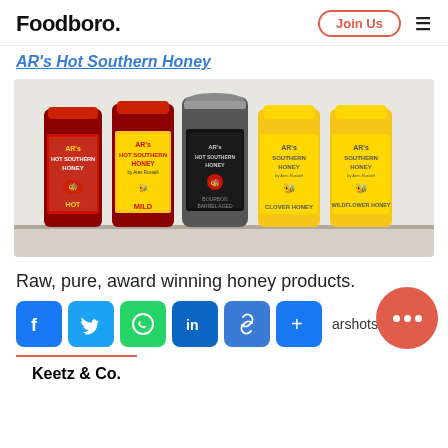Foodboro. | Join Us | ☰
AR's Hot Southern Honey
[Figure (photo): Five bottles of AR's Hot Southern Honey products arranged side by side: Hot (red label), Mild (yellow/red label), Hot Southern Honey (black jar), Clover Honey (yellow label), and Wildflower Honey (yellow label)]
Raw, pure, award winning honey products.
Social share icons: Facebook, Twitter, WhatsApp, LinkedIn, Link, Plus | arshotsouthernh...
Keetz & Co.